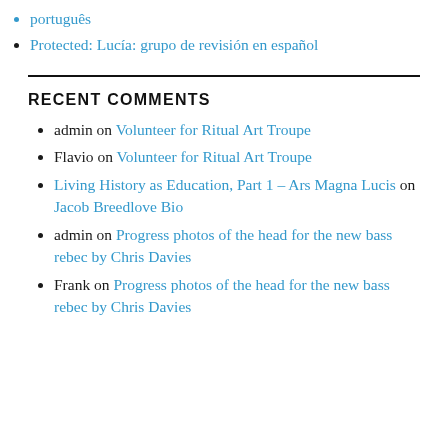português
Protected: Lucía: grupo de revisión en español
RECENT COMMENTS
admin on Volunteer for Ritual Art Troupe
Flavio on Volunteer for Ritual Art Troupe
Living History as Education, Part 1 – Ars Magna Lucis on Jacob Breedlove Bio
admin on Progress photos of the head for the new bass rebec by Chris Davies
Frank on Progress photos of the head for the new bass rebec by Chris Davies